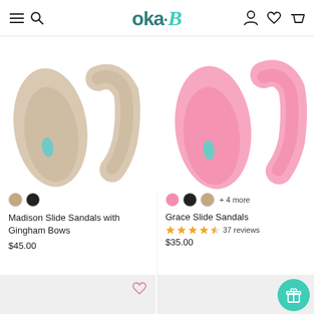oka·B navigation header
[Figure (photo): Two beige/tan oka-B slide sandals viewed from top/sole, showing the footbed and strap on white background]
[Figure (photo): Two pink oka-B slide sandals viewed from top/sole, showing the footbed and strap on white background]
Madison Slide Sandals with Gingham Bows
$45.00
Grace Slide Sandals
37 reviews
$35.00
[Figure (photo): Partial product card bottom left, light gray background with heart/wishlist icon]
[Figure (photo): Partial product card bottom right, light gray background with teal gift button overlay]